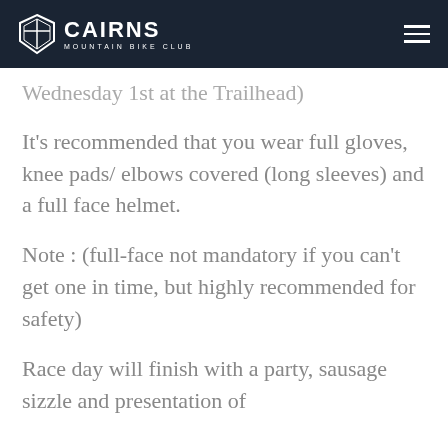Cairns Mountain Bike Club
Wednesday 1st at the Trailhead)
It's recommended that you wear full gloves, knee pads/ elbows covered (long sleeves) and a full face helmet.
Note : (full-face not mandatory if you can't get one in time, but highly recommended for safety)
Race day will finish with a party, sausage sizzle and presentation of